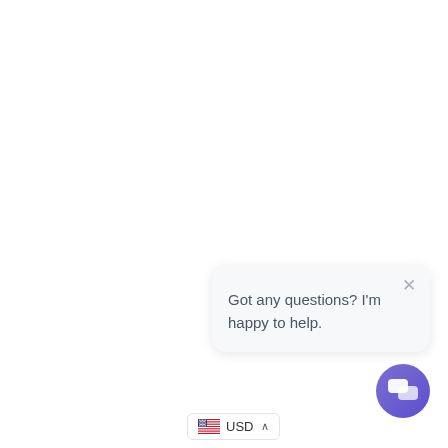[Figure (screenshot): Chat popup bubble with close button (×) and text 'Got any questions? I'm happy to help.' over a white background, with a purple circular chat icon button at bottom-right and a USD currency selector at the bottom.]